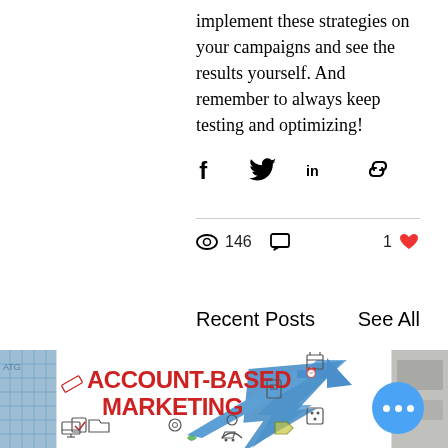implement these strategies on your campaigns and see the results yourself. And remember to always keep testing and optimizing!
[Figure (infographic): Social share icons: Facebook, Twitter, LinkedIn, link/chain icon]
146 views, 0 comments, 1 like
Recent Posts
See All
[Figure (photo): Account-Based Marketing infographic image with large blue upward arrow and marketing icons. Text reads ACCOUNT-BASED MARKETING in bold red letters.]
[Figure (photo): Partial view of left thumbnail: blue glass building facade]
[Figure (photo): Partial view of right thumbnail, grey/neutral tones]